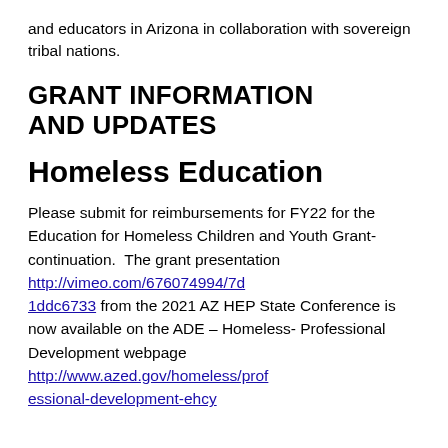and educators in Arizona in collaboration with sovereign tribal nations.
GRANT INFORMATION AND UPDATES
Homeless Education
Please submit for reimbursements for FY22 for the Education for Homeless Children and Youth Grant- continuation. The grant presentation http://vimeo.com/676074994/7d1ddc6733 from the 2021 AZ HEP State Conference is now available on the ADE – Homeless- Professional Development webpage http://www.azed.gov/homeless/professional-development-ehcy